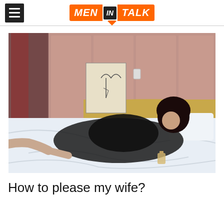MEN IN TALK
[Figure (photo): Woman in black lingerie lying on a white bed in a hotel room with pink headboard and curtains]
How to please my wife?